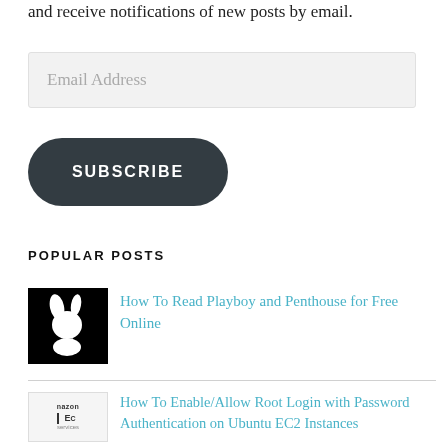and receive notifications of new posts by email.
[Figure (other): Email address input field with placeholder text 'Email Address']
[Figure (other): Dark rounded rectangle SUBSCRIBE button]
POPULAR POSTS
[Figure (other): Playboy bunny logo thumbnail (black background, white silhouette)]
How To Read Playboy and Penthouse for Free Online
[Figure (other): Amazon Web Services EC2 thumbnail image]
How To Enable/Allow Root Login with Password Authentication on Ubuntu EC2 Instances
[Figure (other): Third post thumbnail image (orange/yellow box)]
Create Hyperlinks to Outlook